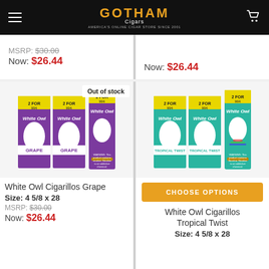Gotham Cigars - America's Online Cigar Store Since 2001
MSRP: $30.00 Now: $26.44
Now: $26.44
[Figure (photo): White Owl Cigarillos Grape product boxes, purple packaging with 2 for 99 cents label, Out of stock badge]
[Figure (photo): White Owl Cigarillos Tropical Twist product boxes, teal/green packaging with 2 for 99 cents label]
White Owl Cigarillos Grape
Size: 4 5/8 x 28
MSRP: $30.00
Now: $26.44
CHOOSE OPTIONS
White Owl Cigarillos Tropical Twist
Size: 4 5/8 x 28